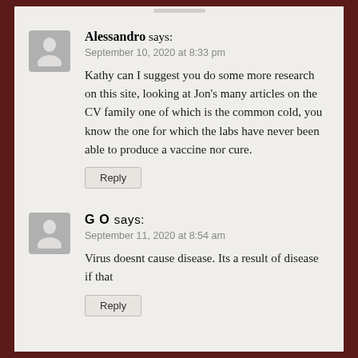Alessandro says: September 10, 2020 at 8:33 pm
Kathy can I suggest you do some more research on this site, looking at Jon's many articles on the CV family one of which is the common cold, you know the one for which the labs have never been able to produce a vaccine nor cure.
G O says: September 11, 2020 at 8:54 am
Virus doesnt cause disease. Its a result of disease if that